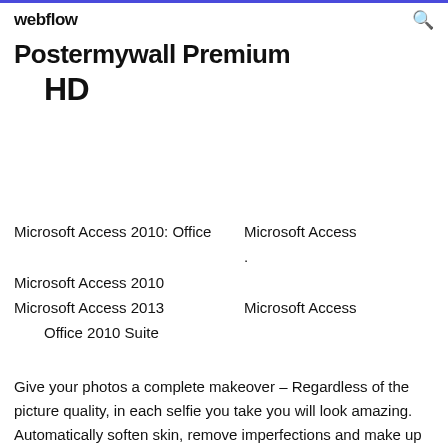webflow
Postermywall Premium HD
Microsoft Access 2010: Office
Microsoft Access
.
Microsoft Access 2010
Microsoft Access 2013
Microsoft Access
Office 2010 Suite
Give your photos a complete makeover – Regardless of the picture quality, in each selfie you take you will look amazing. Automatically soften skin, remove imperfections and make up